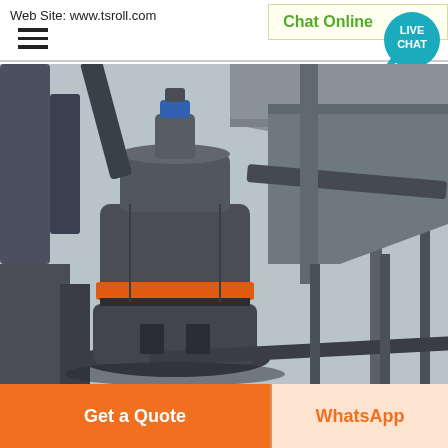Web Site: www.tsroll.com
[Figure (photo): Industrial grinding mill equipment in a factory setting, showing a large vertical cylindrical mill with orange band, connected pipes and ducts, and structural steel framework, photographed from a low angle.]
Chat Online
Get a Quote
WhatsApp